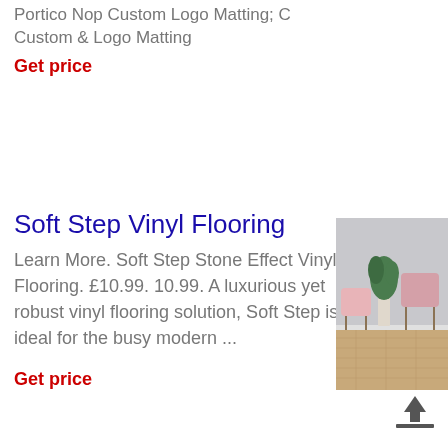Portico Nop Custom Logo Matting; C Custom & Logo Matting
Get price
Soft Step Vinyl Flooring
Learn More. Soft Step Stone Effect Vinyl Flooring. £10.99. 10.99. A luxurious yet robust vinyl flooring solution, Soft Step is ideal for the busy modern ...
Get price
[Figure (photo): Photo of a room with vinyl wood flooring, pink chairs, and a potted plant against a grey wall]